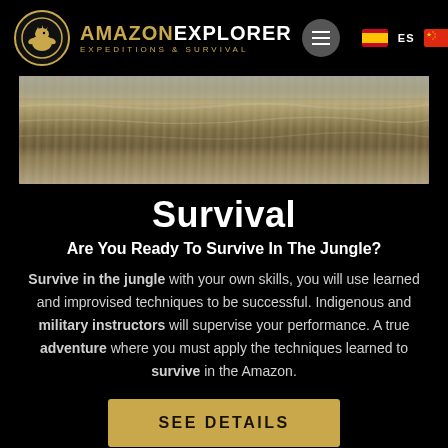[Figure (logo): Amazon Explorer logo: golden lion/eagle circle emblem with AMAZONEXPLORER text and EXPEDITIONS & SURVIVAL tagline]
[Figure (photo): Wide river scene with brown murky water and light reflections, Amazon river landscape]
Survival
Are You Ready To Survive In The Jungle?
Survive in the jungle with your own skills, you will use learned and improvised techniques to be successful. Indigenous and military instructors will supervise your performance. A true adventure where you must apply the techniques learned to survive in the Amazon.
SEE DETAILS